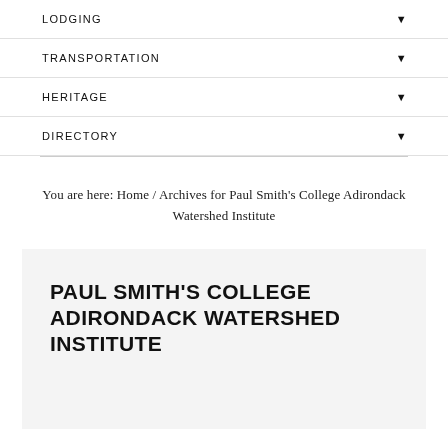LODGING
TRANSPORTATION
HERITAGE
DIRECTORY
You are here: Home / Archives for Paul Smith's College Adirondack Watershed Institute
PAUL SMITH'S COLLEGE ADIRONDACK WATERSHED INSTITUTE